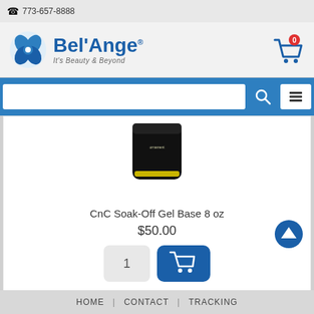📞 773-657-8888
[Figure (logo): Bel'Ange logo with blue knot symbol and text 'Bel'Ange It's Beauty & Beyond']
[Figure (screenshot): Search bar with magnifying glass icon and menu icon]
[Figure (photo): CnC Soak-Off Gel Base 8 oz product in black jar]
CnC Soak-Off Gel Base 8 oz
$50.00
[Figure (illustration): Quantity selector showing 1 and add to cart button]
HOME | CONTACT | TRACKING